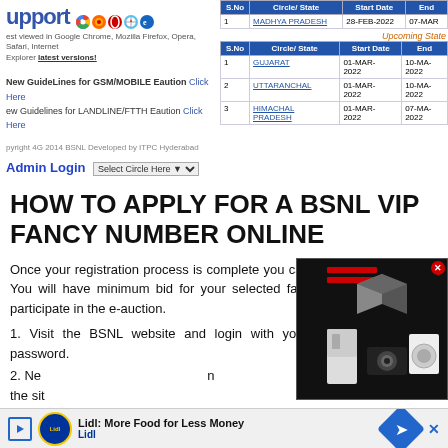[Figure (screenshot): BSNL support portal screenshot showing browser compatibility logos and logo text 'upport']
| S.No | Circle/State | Start Date | End |
| --- | --- | --- | --- |
| 1 | MADHYA PRADESH | 28-FEB-2022 | 07-MAR |
Upcoming State
| S.No | Circle/State | Start Date | End |
| --- | --- | --- | --- |
| 1 | GUJARAT | 01-MAR-2022 | 10-MA-2022 |
| 2 | UTTARANCHAL | 01-MAR-2022 | 10-MA-2022 |
| 3 | HIMACHAL PRADESH | 01-MAR-2022 | 07-MA-2022 |
New GuideLines for GSM/MOBILE Eaution Click Here
ew Guidelines for LANDLINE/FTTH Eaution Click Here
pyright 4G 2014 BSNL Developed by ITPC Hyderabad
Admin Login
HOW TO APPLY FOR A BSNL VIP FANCY NUMBER ONLINE
Once your registration process is complete you can bid for a VIP number. You will have minimum bid for your selected fancy number in order to participate in the e-auction.
1. Visit the BSNL website and login with your mobile number and password.
2. Next, a search bar will appear on the site
[Figure (screenshot): Overlay advertisement showing electronics/appliances products on dark background]
[Figure (screenshot): Bottom banner ad: Lidl: More Food for Less Money with navigation icon]